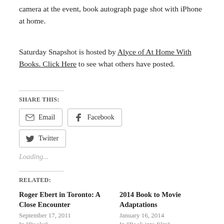Photos of Roger Ebert were taken with just a pocket camera at the event, book autograph page shot with iPhone at home.
Saturday Snapshot is hosted by Alyce of At Home With Books. Click Here to see what others have posted.
SHARE THIS:
Loading...
RELATED:
Roger Ebert in Toronto: A Close Encounter
September 17, 2011
In "Books"
2014 Book to Movie Adaptations
January 16, 2014
In "Book into film"